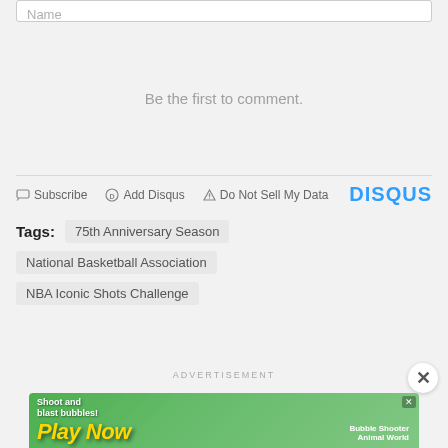Name
Be the first to comment.
Subscribe  Add Disqus  Do Not Sell My Data  DISQUS
Tags: 75th Anniversary Season
National Basketball Association
NBA Iconic Shots Challenge
ADVERTISEMENT
[Figure (screenshot): Mobile game advertisement banner: 'Shoot and blast bubbles! Play Now - Bubble Shooter Animal World']